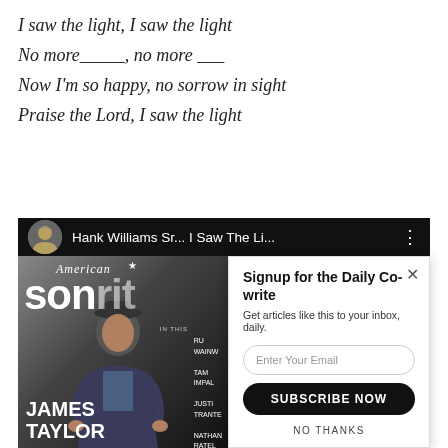I saw the light, I saw the light
No more_____, no more ___
Now I'm so happy, no sorrow in sight
Praise the Lord, I saw the light
[Figure (screenshot): YouTube video bar showing 'Hank Williams Sr... I Saw The Li...' with a channel icon and three-dot menu]
[Figure (screenshot): American Songwriter magazine cover featuring James Taylor, overlaid with a popup 'Signup for the Daily Co-write' with email input, Subscribe Now button, and No Thanks link]